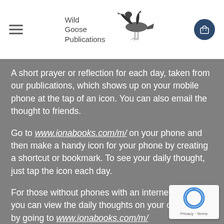Wild Goose Publications
A short prayer or reflection for each day, taken from our publications, which shows up on your mobile phone at the tap of an icon. You can also email the thought to friends.
Go to www.ionabooks.com/m/ on your phone and then make a handy icon for your phone by creating a shortcut or bookmark. To see your daily thought, just tap the icon each day.
For those without phones with an internet capability, you can view the daily thoughts on your computer by going to www.ionabooks.com/m/
[Figure (logo): reCAPTCHA badge with Privacy - Terms text]